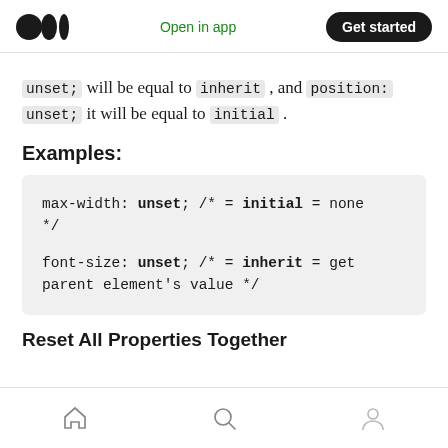Open in app  Get started
unset; will be equal to inherit , and position: unset; it will be equal to initial .
Examples:
max-width: unset; /* = initial = none */

font-size: unset; /* = inherit = get parent element's value */
Reset All Properties Together
Home  Search  Profile